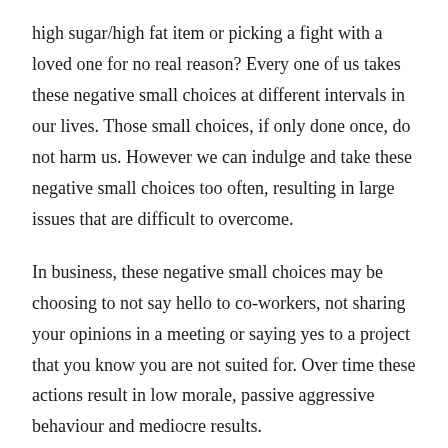high sugar/high fat item or picking a fight with a loved one for no real reason? Every one of us takes these negative small choices at different intervals in our lives. Those small choices, if only done once, do not harm us. However we can indulge and take these negative small choices too often, resulting in large issues that are difficult to overcome.
In business, these negative small choices may be choosing to not say hello to co-workers, not sharing your opinions in a meeting or saying yes to a project that you know you are not suited for. Over time these actions result in low morale, passive aggressive behaviour and mediocre results.
Positive small decisions like choosing to take a brisk walk with your dog, smiling at your mate, choosing a leaf of lettuce rather than a potato chip can result, over the long run, in wonderfully successful results – financial freedom, love, and